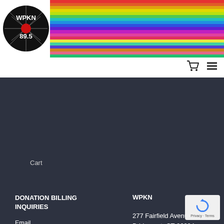[Figure (logo): WPKN 89.5 radio station logo — black circle with stylized 'WPKN 89.5' text and red burst design]
[Figure (illustration): Horizontal rainbow stripes banner across the top right of the header]
[Figure (illustration): Shopping cart icon and hamburger menu icon in top right navigation area]
Cart
DONATION BILLING INQUIRIES
Email MemberCard@WPKN.org with questions about or changes to your sustaining membership.
WPKN
277 Fairfield Avenue, Bridgeport, CT 06604
Phone: 203-331-9756
Web: wpkn.org